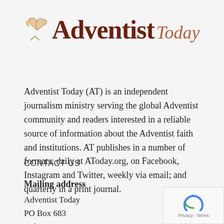[Figure (logo): Adventist Today logo with a small fish/bird icon and bold serif 'Adventist' in dark brown and italic 'Today' in lighter brown]
Adventist Today (AT) is an independent journalism ministry serving the global Adventist community and readers interested in a reliable source of information about the Adventist faith and institutions. AT publishes in a number of formats: daily at AToday.org, on Facebook, Instagram and Twitter, weekly via email; and quarterly in a print journal.
CONTACT US
Mailing address
Adventist Today
PO Box 683
Milton-Freewater OR 97862